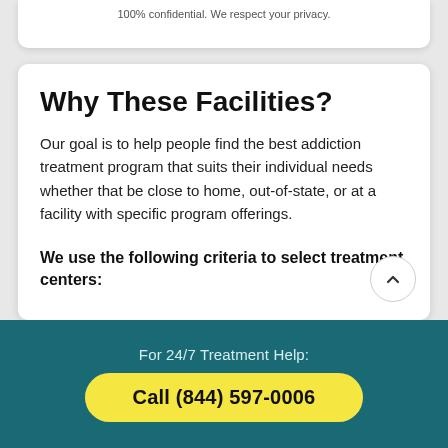100% confidential. We respect your privacy.
Why These Facilities?
Our goal is to help people find the best addiction treatment program that suits their individual needs whether that be close to home, out-of-state, or at a facility with specific program offerings.
We use the following criteria to select treatment centers:
For 24/7 Treatment Help:
Call (844) 597-0006